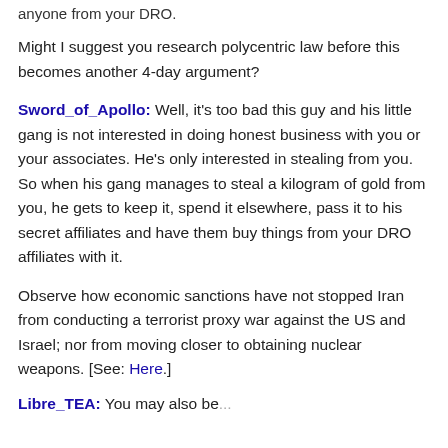anyone from your DRO.
Might I suggest you research polycentric law before this becomes another 4-day argument?
Sword_of_Apollo: Well, it's too bad this guy and his little gang is not interested in doing honest business with you or your associates. He's only interested in stealing from you. So when his gang manages to steal a kilogram of gold from you, he gets to keep it, spend it elsewhere, pass it to his secret affiliates and have them buy things from your DRO affiliates with it.
Observe how economic sanctions have not stopped Iran from conducting a terrorist proxy war against the US and Israel; nor from moving closer to obtaining nuclear weapons. [See: Here.]
Libre_TEA: You may also be...